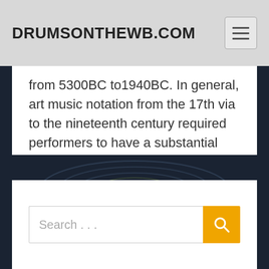DRUMSONTHEWB.COM
from 5300BC to1940BC. In general, art music notation from the 17th via to the nineteenth century required performers to have a substantial amount of contextual knowledge about performing types. Live shows can be the only alternative where individuals would usually have to hear musicians play... READ MORE..
[Figure (other): Dark background with circular drum graphic]
Search ...